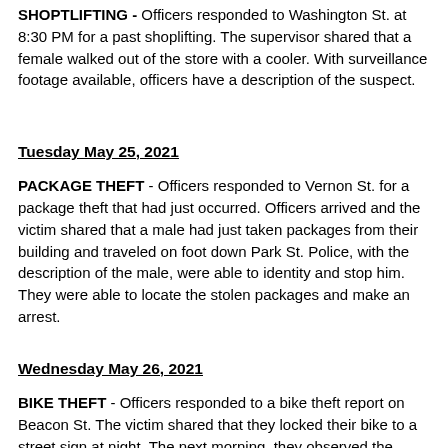SHOPTLIFTING - Officers responded to Washington St. at 8:30 PM for a past shoplifting. The supervisor shared that a female walked out of the store with a cooler. With surveillance footage available, officers have a description of the suspect.
Tuesday May 25, 2021
PACKAGE THEFT - Officers responded to Vernon St. for a package theft that had just occurred. Officers arrived and the victim shared that a male had just taken packages from their building and traveled on foot down Park St. Police, with the description of the male, were able to identity and stop him. They were able to locate the stolen packages and make an arrest.
Wednesday May 26, 2021
BIKE THEFT - Officers responded to a bike theft report on Beacon St. The victim shared that they locked their bike to a street sign at night. The next morning, they observed the